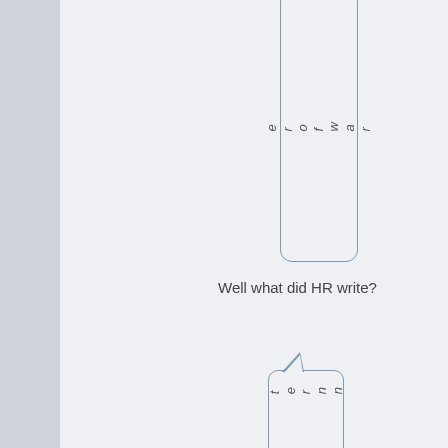[Figure (other): A rounded rectangle speech bubble (partially cut off at top) containing vertical italic text reading 'erofwar']
Well what did HR write?
[Figure (other): A speech bubble with a triangular pointer at the top containing vertical italic text reading 'WhatWesternnationals']